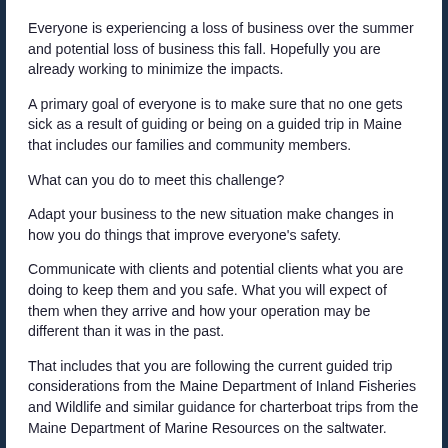Everyone is experiencing a loss of business over the summer and potential loss of business this fall. Hopefully you are already working to minimize the impacts.
A primary goal of everyone is to make sure that no one gets sick as a result of guiding or being on a guided trip in Maine that includes our families and community members.
What can you do to meet this challenge?
Adapt your business to the new situation make changes in how you do things that improve everyone's safety.
Communicate with clients and potential clients what you are doing to keep them and you safe. What you will expect of them when they arrive and how your operation may be different than it was in the past.
That includes that you are following the current guided trip considerations from the Maine Department of Inland Fisheries and Wildlife and similar guidance for charterboat trips from the Maine Department of Marine Resources on the saltwater.